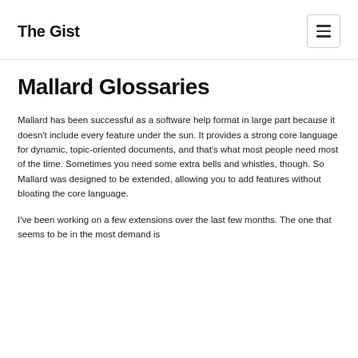The Gist
Mallard Glossaries
Mallard has been successful as a software help format in large part because it doesn't include every feature under the sun. It provides a strong core language for dynamic, topic-oriented documents, and that's what most people need most of the time. Sometimes you need some extra bells and whistles, though. So Mallard was designed to be extended, allowing you to add features without bloating the core language.
I've been working on a few extensions over the last few months. The one that seems to be in the most demand is